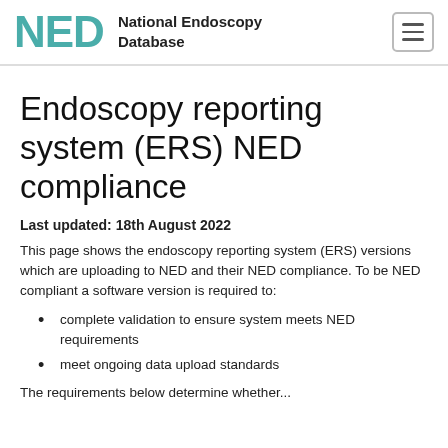NED — National Endoscopy Database
Endoscopy reporting system (ERS) NED compliance
Last updated: 18th August 2022
This page shows the endoscopy reporting system (ERS) versions which are uploading to NED and their NED compliance. To be NED compliant a software version is required to:
complete validation to ensure system meets NED requirements
meet ongoing data upload standards
The requirements below...